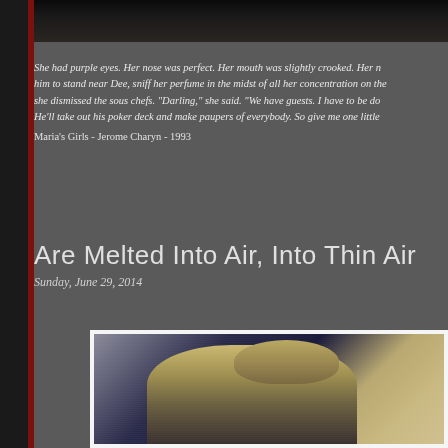[Figure (photo): Dark photograph at top of page, mostly black/dark tones, partial view of a scene]
She had purple eyes. Her nose was perfect. Her mouth was slightly crooked. Her n... him to stand near Dee, sniff her perfume in the midst of all her concentration on the... she dismissed the sous chefs. "Darling," she said. "We have guests. I have to be do... He'll take out his poker deck and make paupers of everybody. So give me one little...
Maria's Girls - Jerome Charyn - 1993
Are Melted Into Air, Into Thin Air
Sunday, June 29, 2014
[Figure (photo): Vintage-style photograph of a person with long hair, appears to be a woman, dark toned image with warm yellow/gold tones in the lower portion]